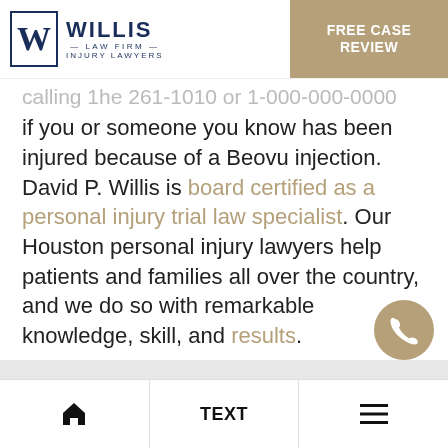[Figure (logo): Willis Law Firm Injury Lawyers logo with W in a box and FREE CASE REVIEW button]
calling the 281-1000 or 1-800-000-0000 if you or someone you know has been injured because of a Beovu injection. David P. Willis is board certified as a personal injury trial law specialist. Our Houston personal injury lawyers help patients and families all over the country, and we do so with remarkable knowledge, skill, and results.
Home | TEXT | Menu